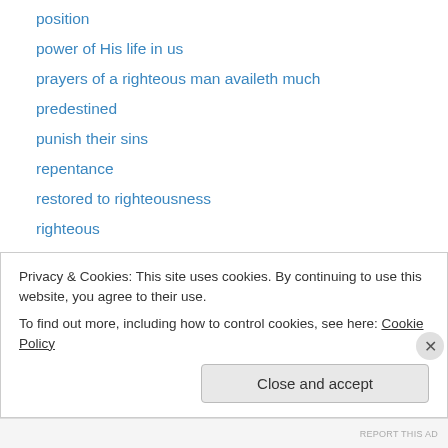position
power of His life in us
prayers of a righteous man availeth much
predestined
punish their sins
repentance
restored to righteousness
righteous
salvation
searching our hearts
separation
sin issue
sin sick earth
Privacy & Cookies: This site uses cookies. By continuing to use this website, you agree to their use. To find out more, including how to control cookies, see here: Cookie Policy
REPORT THIS AD